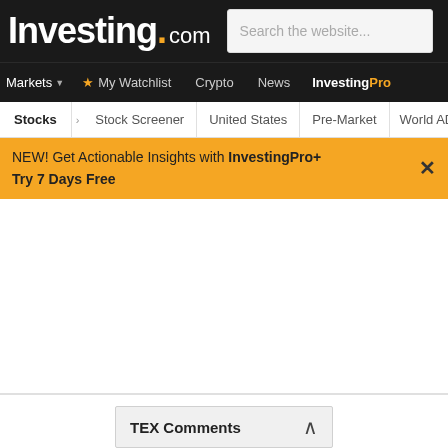Investing.com | Search the website...
Markets | My Watchlist | Crypto | News | InvestingPro
Stocks | Stock Screener | United States | Pre-Market | World ADRs | M
NEW! Get Actionable Insights with InvestingPro+
Try 7 Days Free
TEX Comments